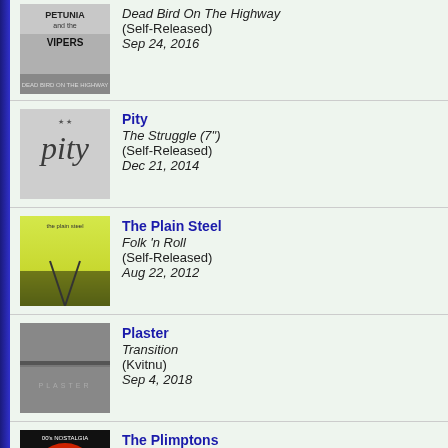Petunia and the Vipers | Dead Bird On The Highway (Self-Released) | Sep 24, 2016
Pity | The Struggle (7") (Self-Released) | Dec 21, 2014
The Plain Steel | Folk 'n Roll (Self-Released) | Aug 22, 2012
Plaster | Transition (Kvitnu) | Sep 4, 2018
The Plimptons | 00's Nostalgia with the Plimptons (16 Ohm) | Jul 18, 2011
Pomegranate | Ahead and Behind